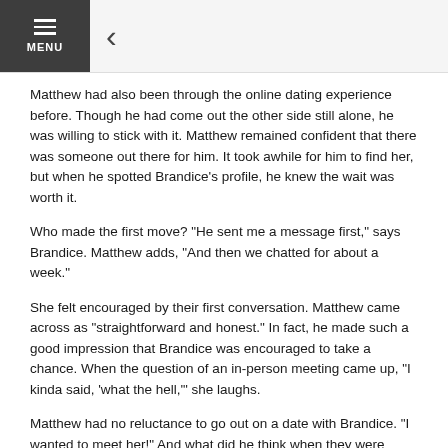MENU <
Matthew had also been through the online dating experience before. Though he had come out the other side still alone, he was willing to stick with it. Matthew remained confident that there was someone out there for him. It took awhile for him to find her, but when he spotted Brandice’s profile, he knew the wait was worth it.
Who made the first move? “He sent me a message first,” says Brandice. Matthew adds, “And then we chatted for about a week.”
She felt encouraged by their first conversation. Matthew came across as “straightforward and honest.” In fact, he made such a good impression that Brandice was encouraged to take a chance. When the question of an in-person meeting came up, “I kinda said, ‘what the hell,’” she laughs.
Matthew had no reluctance to go out on a date with Brandice. “I wanted to meet her!” And what did he think when they were finally face to face? “She looked beautiful,” he says, smiling at the memory. She felt the same way. “He looked way better than the picture.”